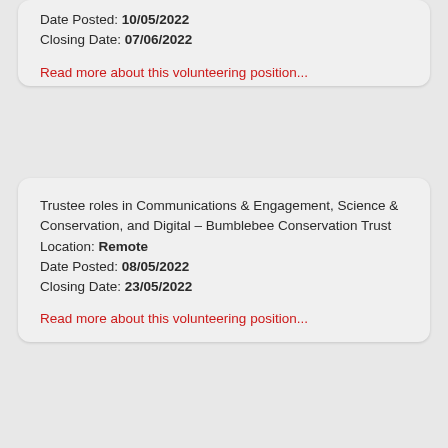Date Posted: 10/05/2022
Closing Date: 07/06/2022
Read more about this volunteering position...
Trustee roles in Communications & Engagement, Science & Conservation, and Digital – Bumblebee Conservation Trust
Location: Remote
Date Posted: 08/05/2022
Closing Date: 23/05/2022
Read more about this volunteering position...